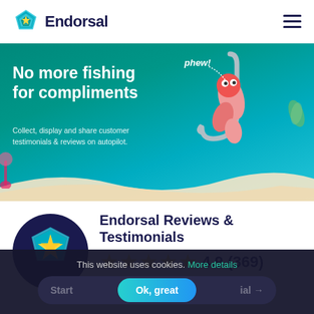Endorsal
[Figure (illustration): Endorsal hero banner with teal/green gradient background, cartoon worm on a fishing hook with 'phew!' text, underwater scene with coral elements]
No more fishing for compliments
Collect, display and share customer testimonials & reviews on autopilot.
[Figure (logo): Endorsal star logo icon inside dark navy circle]
Endorsal Reviews & Testimonials
4.9 (369)
This website uses cookies. More details
Start free trial →  Ok, great